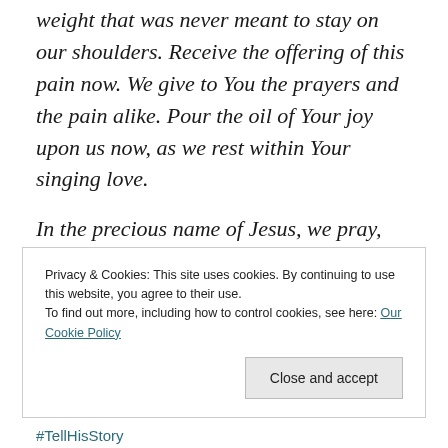weight that was never meant to stay on our shoulders. Receive the offering of this pain now. We give to You the prayers and the pain alike. Pour the oil of Your joy upon us now, as we rest within Your singing love.
In the precious name of Jesus, we pray,
Amen.
Privacy & Cookies: This site uses cookies. By continuing to use this website, you agree to their use. To find out more, including how to control cookies, see here: Our Cookie Policy
#TellHisStory